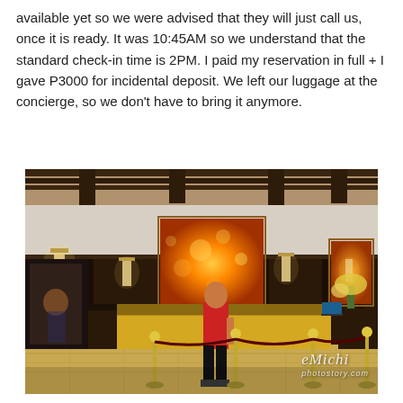available yet so we were advised that they will just call us, once it is ready. It was 10:45AM so we understand that the standard check-in time is 2PM. I paid my reservation in full + I gave P3000 for incidental deposit. We left our luggage at the concierge, so we don't have to bring it anymore.
[Figure (photo): Hotel lobby check-in counter with dark wood paneling, warm orange/amber artwork panels, wall-mounted light sconces, gold-toned front desk, velvet rope stanchions, and a person in a red shirt standing at the counter. Watermark reads 'Michi photostory.com' in bottom right.]